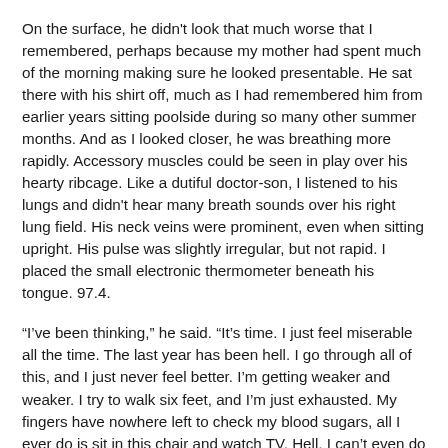On the surface, he didn't look that much worse that I remembered, perhaps because my mother had spent much of the morning making sure he looked presentable. He sat there with his shirt off, much as I had remembered him from earlier years sitting poolside during so many other summer months. And as I looked closer, he was breathing more rapidly. Accessory muscles could be seen in play over his hearty ribcage. Like a dutiful doctor-son, I listened to his lungs and didn't hear many breath sounds over his right lung field. His neck veins were prominent, even when sitting upright. His pulse was slightly irregular, but not rapid. I placed the small electronic thermometer beneath his tongue. 97.4.
“I’ve been thinking,” he said. “It’s time. I just feel miserable all the time. The last year has been hell. I go through all of this, and I just never feel better. I’m getting weaker and weaker. I try to walk six feet, and I’m just exhausted. My fingers have nowhere left to check my blood sugars, all I ever do is sit in this chair and watch TV. Hell, I can’t even do that – I just fall asleep. Everything is a chore, and it’s costing us a fortune. And for what? Ihistor one sheet anno they Shel b...